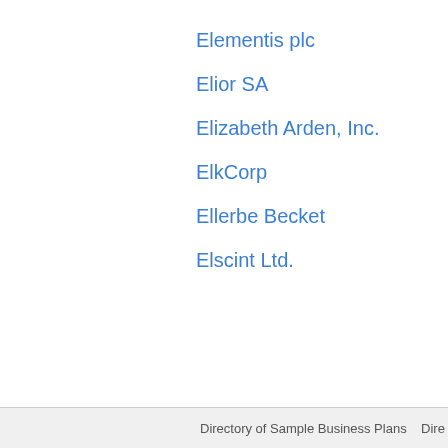Elementis plc
Elior SA
Elizabeth Arden, Inc.
ElkCorp
Ellerbe Becket
Elscint Ltd.
Directory of Sample Business Plans   Dire